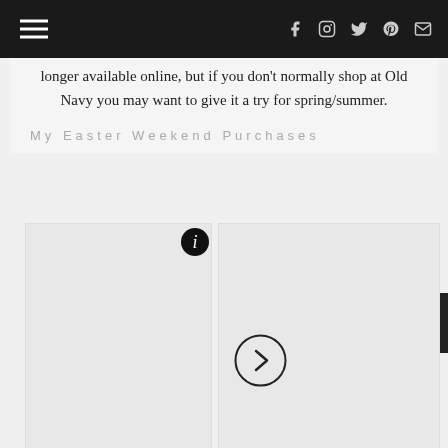Navigation bar with hamburger menu and social icons (Facebook, Instagram, Twitter, Pinterest, Email)
longer available online, but if you don't normally shop at Old Navy you may want to give it a try for spring/summer.
My Easter Weekend Purchases
[Figure (photo): Image carousel showing product photos with info button (i) and next arrow button (>). Left image placeholder and partial right image visible.]